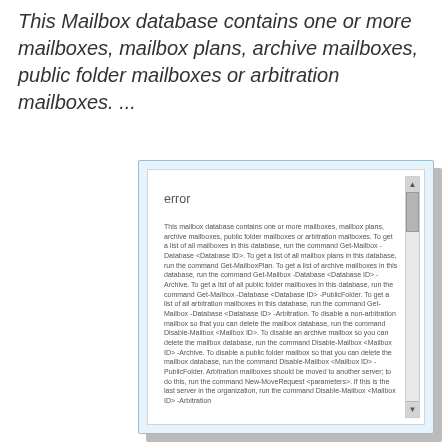This Mailbox database contains one or more mailboxes, mailbox plans, archive mailboxes, public folder mailboxes or arbitration mailboxes. ...
[Figure (screenshot): A dialog box or error window showing the text 'error' as a label and a scrollable body of text describing the mailbox database error and commands to run (Get-Mailbox, Get-MailboxPlan, Disable-Mailbox, New-MoveRequest) with a scrollbar on the right side.]